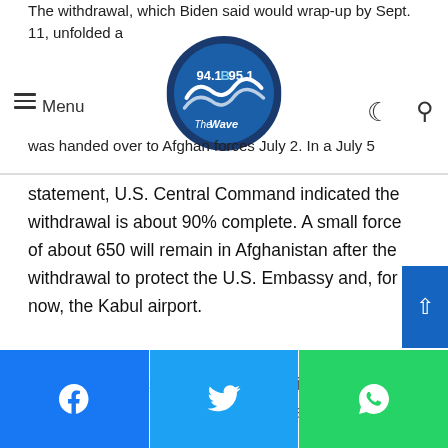94.1 B 95.1 The Wave — Menu navigation header with logo, dark mode toggle, and search icon
The withdrawal, which Biden said would wrap-up by Sept. 11, unfolded ahead of schedule. Bagram Air Base, the main hub of military operations in Afghanistan for the past two decades, was handed over to Afghan forces July 2. In a July 5 statement, U.S. Central Command indicated the withdrawal is about 90% complete. A small force of about 650 will remain in Afghanistan after the withdrawal to protect the U.S. Embassy and, for now, the Kabul airport.
“Our presence is small, both materially and physically,” Pentagon press secretary John Kirby said Tuesday.
But since U.S. troops began pulling out of Afghanistan, security has rapidly deteriorated. Taliban militants have swept through dozens of districts, seizing control and either slaughtering Afghan troops or winning their surrender.
Social share buttons: Facebook, Twitter, WhatsApp